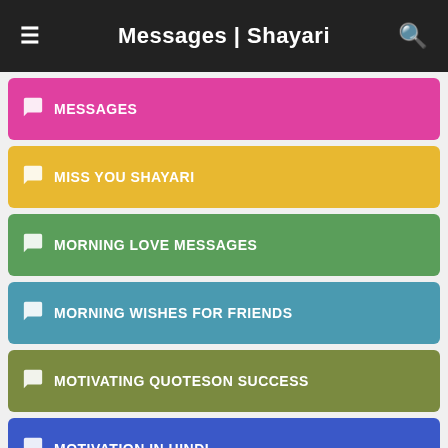Messages | Shayari
MESSAGES
MISS YOU SHAYARI
MORNING LOVE MESSAGES
MORNING WISHES FOR FRIENDS
MOTIVATING QUOTESON SUCCESS
MOTIVATION IN HINDI
MOTIVATION QUOTE
MOTIVATION QUOTE IN HINDI